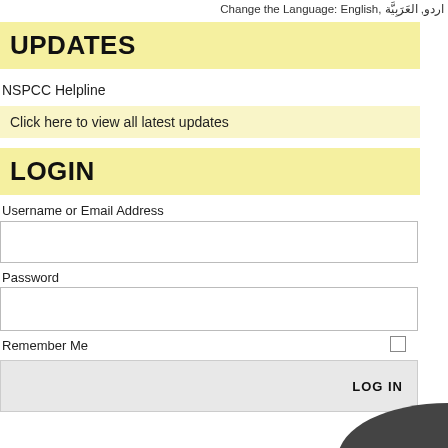Change the Language: English, اردو, العَرَبِيَّة
UPDATES
NSPCC Helpline
Click here to view all latest updates
LOGIN
Username or Email Address
Password
Remember Me
LOG IN